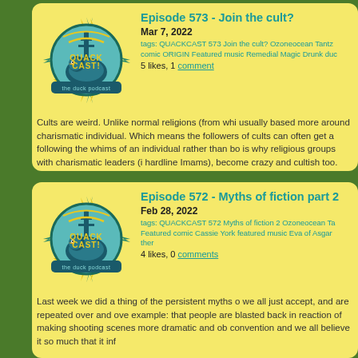[Figure (logo): Quackcast the duck podcast logo - circular badge with teal/blue duck silhouette and lightning bolts, text QUACK CAST and the duck podcast]
Episode 573 - Join the cult?
Mar 7, 2022
tags: QUACKCAST 573 Join the cult? Ozoneocean Tantz comic ORIGIN Featured music Remedial Magic Drunk duc
5 likes, 1 comment
Cults are weird. Unlike normal religions (from whi usually based more around charismatic individual. Which means the followers of cults can often get a following the whims of an individual rather than bo is why religious groups with charismatic leaders (i hardline Imams), become crazy and cultish too.
[Figure (logo): Quackcast the duck podcast logo - circular badge with teal/blue duck silhouette and lightning bolts, text QUACK CAST and the duck podcast]
Episode 572 - Myths of fiction part 2
Feb 28, 2022
tags: QUACKCAST 572 Myths of fiction 2 Ozoneocean Ta Featured comic Cassie York featured music Eva of Asgar ther
4 likes, 0 comments
Last week we did a thing of the persistent myths o we all just accept, and are repeated over and ove example: that people are blasted back in reaction of making shooting scenes more dramatic and ob convention and we all believe it so much that it inf